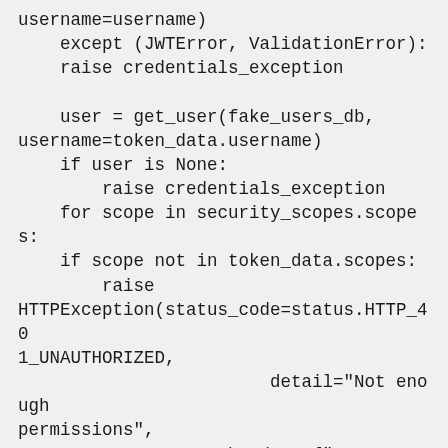username=username)
        except (JWTError, ValidationError):
        raise credentials_exception

        user = get_user(fake_users_db,
username=token_data.username)
        if user is None:
                raise credentials_exception
        for scope in security_scopes.scopes:
        if scope not in token_data.scopes:
                raise
HTTPException(status_code=status.HTTP_401_UNAUTHORIZED,
                                detail="Not enough
permissions",
                        headers={"WWW-Authenticate": authenticate_value},)
        return user